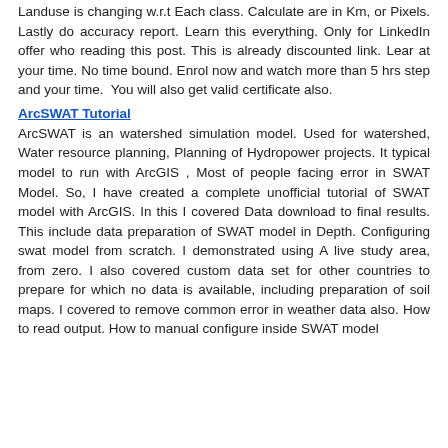Landuse is changing w.r.t Each class. Calculate are in Km, or Pixels. Lastly do accuracy report. Learn this everything. Only for LinkedIn offer who reading this post. This is already discounted link. Lear at your time. No time bound. Enrol now and watch more than 5 hrs step and your time.  You will also get valid certificate also.
ArcSWAT Tutorial
ArcSWAT is an watershed simulation model. Used for watershed, Water resource planning, Planning of Hydropower projects. It typical model to run with ArcGIS , Most of people facing error in SWAT Model. So, I have created a complete unofficial tutorial of SWAT model with ArcGIS. In this I covered Data download to final results. This include data preparation of SWAT model in Depth. Configuring swat model from scratch. I demonstrated using A live study area, from zero. I also covered custom data set for other countries to prepare for which no data is available, including preparation of soil maps. I covered to remove common error in weather data also. How to read output. How to manual configure inside SWAT model